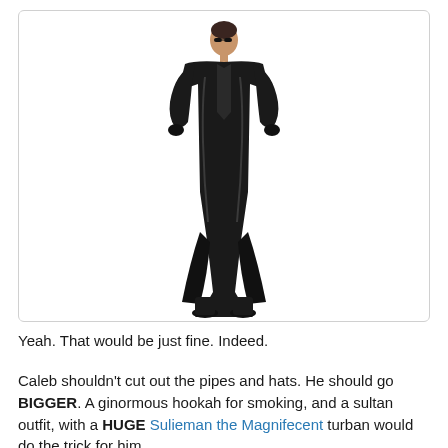[Figure (photo): A person wearing a long black shiny latex/leather trench coat with hands on hips, sunglasses, and black boots, standing against a white background. The image is framed in a rounded rectangle border.]
Yeah. That would be just fine. Indeed.
Caleb shouldn't cut out the pipes and hats. He should go BIGGER. A ginormous hookah for smoking, and a sultan outfit, with a HUGE Sulieman the Magnifecent turban would do the trick for him.